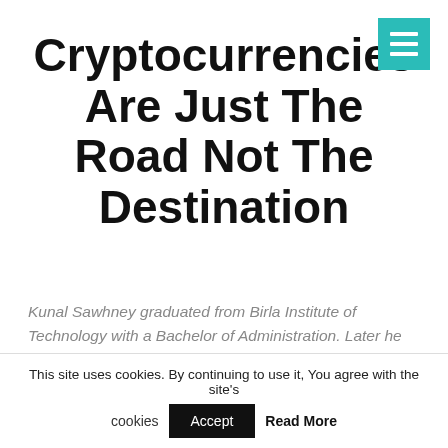Cryptocurrencies Are Just The Road Not The Destination
Kunal Sawhney graduated from Birla Institute of Technology with a Bachelor of Administration. Later he earned a Master's degree in Business Administration and Accounting from the University of Technology, Sidney. Kunal Sawhney started his career as Vice President, Sales in FatProphets. In 2013 he held the position of Head Business Development at City Index Australia Pty ltd. A
This site uses cookies. By continuing to use it, You agree with the site's cookies Accept Read More